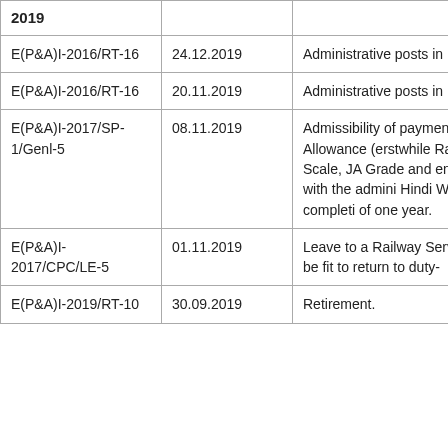| File No. | Date | Subject |
| --- | --- | --- |
| 2019 |  |  |
| E(P&A)I-2016/RT-16 | 24.12.2019 | Administrative posts in IR |
| E(P&A)I-2016/RT-16 | 20.11.2019 | Administrative posts in IR |
| E(P&A)I-2017/SP-1/Genl-5 | 08.11.2019 | Admissibility of payment of Allowance (erstwhile Rajbhasha) to Sr. Scale, JA Grade and entrusted with the admini Hindi Work after completion of one year. |
| E(P&A)I-2017/CPC/LE-5 | 01.11.2019 | Leave to a Railway Servant to be fit to return to duty- |
| E(P&A)I-2019/RT-10 | 30.09.2019 | Retirement. |